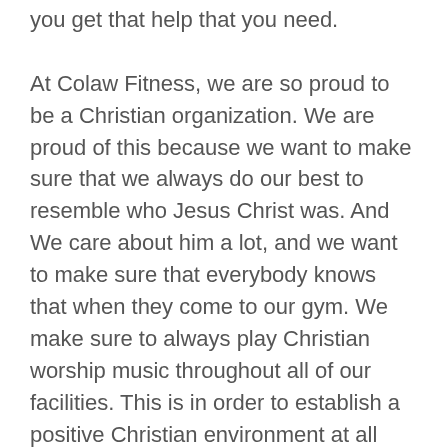you get that help that you need. At Colaw Fitness, we are so proud to be a Christian organization. We are proud of this because we want to make sure that we always do our best to resemble who Jesus Christ was. And We care about him a lot, and we want to make sure that everybody knows that when they come to our gym. We make sure to always play Christian worship music throughout all of our facilities. This is in order to establish a positive Christian environment at all times.
We wanted to make sure that we are always a gym that did their best in order to appreciate who Jesus was. We can show you how we do this by having you join our gyms and see for yourself. With this worship music, it allows